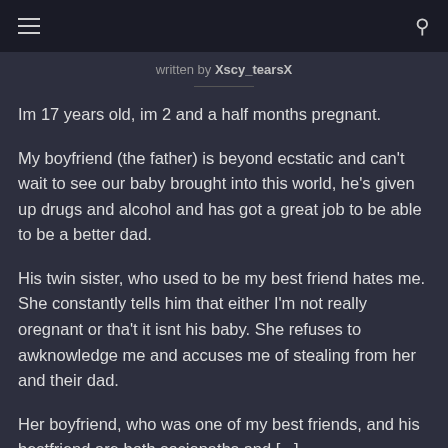☰  [search icon]
written by Xscy_tearsX
Im 17 years old, im 2 and a half months pregnant.
My boyfriend (the father) is beyond ecstatic and can't wait to see our baby brought into this world, he's given up drugs and alcohol and has got a great job to be able to be a better dad.
His twin sister, who used to be my best friend hates me. She constantly tells him that either I'm not really oregnant or tha't it isnt his baby. She refuses to awknowledge me and accuses me of stealing from her and their dad.
Her boyfriend, who was one of my best friends, and his bestfriend are both sociopaths and [...]